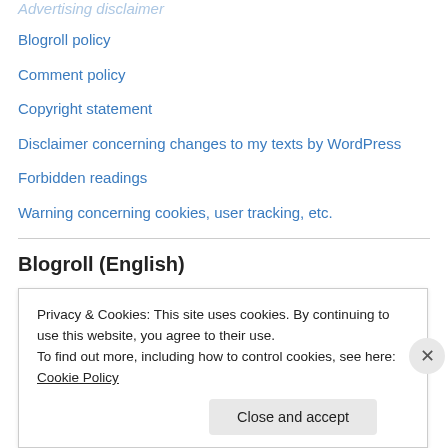Advertising disclaimer
Blogroll policy
Comment policy
Copyright statement
Disclaimer concerning changes to my texts by WordPress
Forbidden readings
Warning concerning cookies, user tracking, etc.
Blogroll (English)
Aggregated Newslinks (UNZ)
Brownstone Institute
Dilbert
Privacy & Cookies: This site uses cookies. By continuing to use this website, you agree to their use.
To find out more, including how to control cookies, see here: Cookie Policy
Close and accept